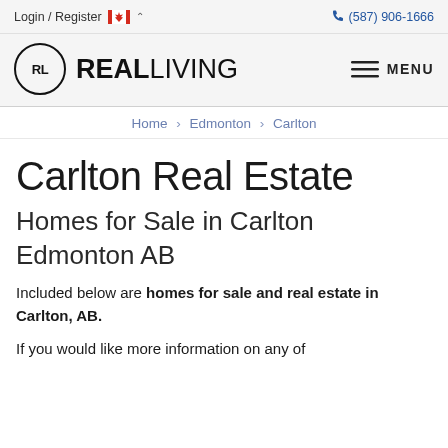Login / Register  (587) 906-1666
[Figure (logo): Real Living logo — circle with RL initials and REAL LIVING wordmark]
Home > Edmonton > Carlton
Carlton Real Estate
Homes for Sale in Carlton Edmonton AB
Included below are homes for sale and real estate in Carlton, AB.
If you would like more information on any of